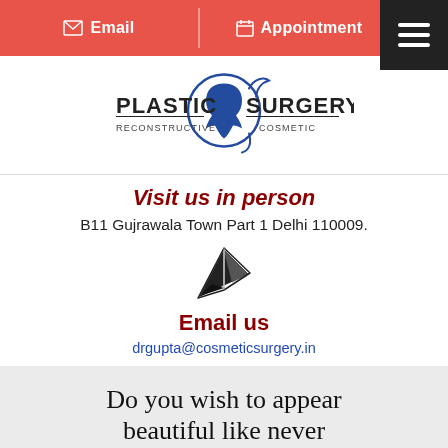Email  Appointment
[Figure (logo): Plastic Surgery Reconstructive Cosmetic logo with face silhouette in blue circle]
Visit us in person
B11 Gujrawala Town Part 1 Delhi 110009.
[Figure (illustration): Paper airplane / send icon in dark color]
Email us
drgupta@cosmeticsurgery.in
Do you wish to appear beautiful like never